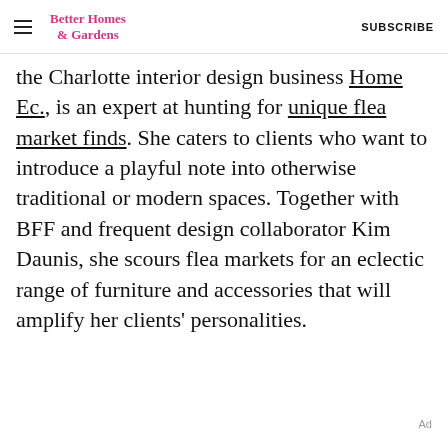Better Homes & Gardens | SUBSCRIBE
the Charlotte interior design business Home Ec., is an expert at hunting for unique flea market finds. She caters to clients who want to introduce a playful note into otherwise traditional or modern spaces. Together with BFF and frequent design collaborator Kim Daunis, she scours flea markets for an eclectic range of furniture and accessories that will amplify her clients' personalities.
Ad